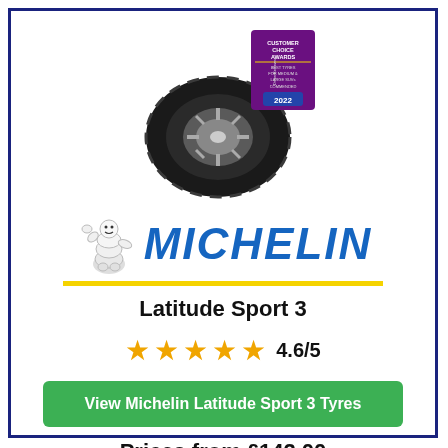[Figure (photo): Michelin Latitude Sport 3 tyre with a Customer Choice Awards 2022 badge (DriverReviews - Best Tyres for Medium & Large SUVs - Commended)]
[Figure (logo): Michelin logo: Bibendum mascot (Michelin Man) waving, blue italic MICHELIN text, yellow underline bar]
Latitude Sport 3
★★★★★ 4.6/5
View Michelin Latitude Sport 3 Tyres
Prices from £142.00